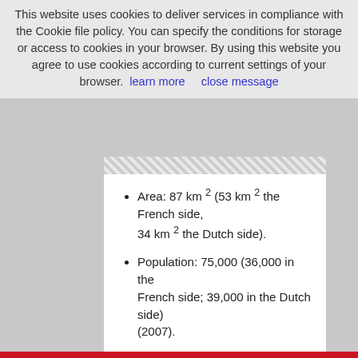This website uses cookies to deliver services in compliance with the Cookie file policy. You can specify the conditions for storage or access to cookies in your browser. By using this website you agree to use cookies according to current settings of your browser. learn more    close message
Area: 87 km² (53 km² the French side, 34 km² the Dutch side).
Population: 75,000 (36,000 in the French side; 39,000 in the Dutch side) (2007).
State Capital: Marigot (French side), Philipsburg (Dutch side).